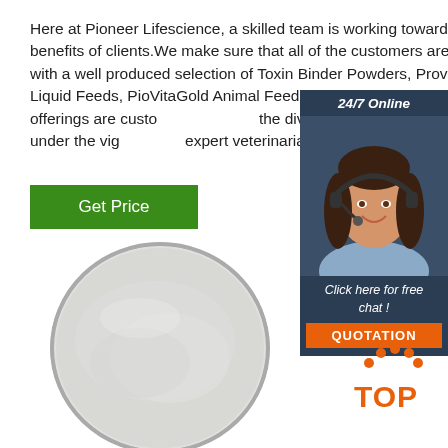Here at Pioneer Lifescience, a skilled team is working towards the benefits of clients.We make sure that all of the customers are delivered with a well produced selection of Toxin Binder Powders, Provit a3h Liquid Feeds, PioVitaGold Animal Feed Powders, etc.All the prepared offerings are customized to meet the diverse requirements of clients, under the vigil eyes of expert veterinarians and ...
Get Price
[Figure (screenshot): Chat widget with '24/7 Online' header, photo of a smiling woman wearing a headset, 'Click here for free chat!' text, and an orange QUOTATION button]
[Figure (photo): A circular petri dish containing white/grey powder (animal feed or supplement powder)]
[Figure (logo): Orange TOP logo with dots arranged in an arc above the word TOP in orange capital letters]